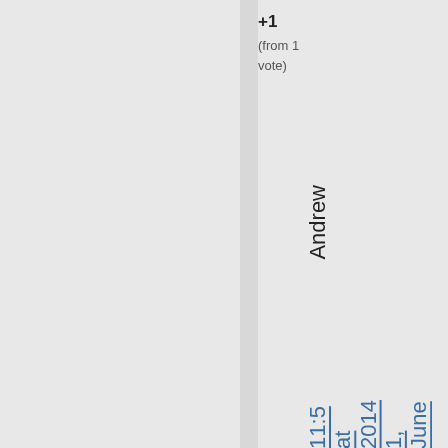+1
(from 1 vote)
Andrew June 1, 2014 at 11:5